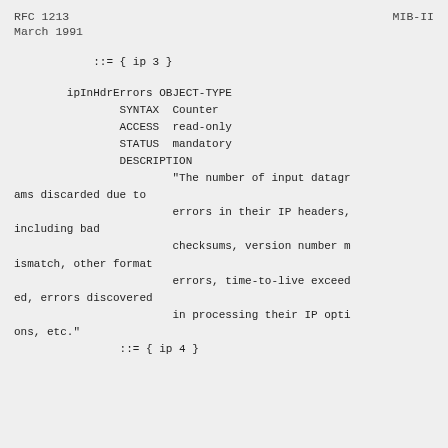RFC 1213                                          MIB-II
March 1991
::= { ip 3 }
ipInHdrErrors OBJECT-TYPE
        SYNTAX  Counter
        ACCESS  read-only
        STATUS  mandatory
        DESCRIPTION
                "The number of input datagrams discarded due to
                errors in their IP headers, including bad
                checksums, version number mismatch, other format
                errors, time-to-live exceeded, errors discovered
                in processing their IP options, etc."
        ::= { ip 4 }